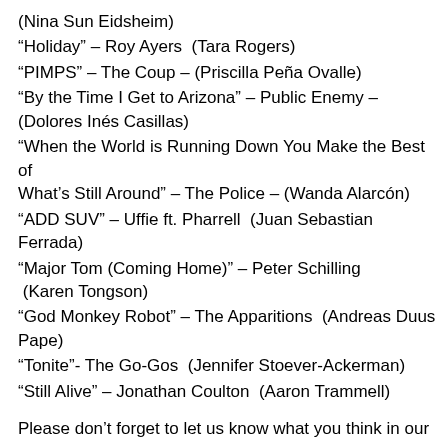(Nina Sun Eidsheim)
“Holiday” – Roy Ayers  (Tara Rogers)
“PIMPS” – The Coup – (Priscilla Peña Ovalle)
“By the Time I Get to Arizona” – Public Enemy – (Dolores Inés Casillas)
“When the World is Running Down You Make the Best of What’s Still Around” – The Police – (Wanda Alarcón)
“ADD SUV” – Uffie ft. Pharrell  (Juan Sebastian Ferrada)
“Major Tom (Coming Home)” – Peter Schilling  (Karen Tongson)
“God Monkey Robot” – The Apparitions  (Andreas Duus Pape)
“Tonite”- The Go-Gos  (Jennifer Stoever-Ackerman)
“Still Alive” – Jonathan Coulton  (Aaron Trammell)
Please don’t forget to let us know what you think in our